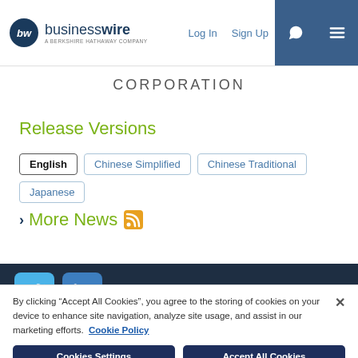businesswire — A BERKSHIRE HATHAWAY COMPANY | Log In | Sign Up
CORPORATION
Release Versions
English
Chinese Simplified
Chinese Traditional
Japanese
More News
Twitter | LinkedIn social icons
By clicking "Accept All Cookies", you agree to the storing of cookies on your device to enhance site navigation, analyze site usage, and assist in our marketing efforts. Cookie Policy
Cookies Settings | Accept All Cookies